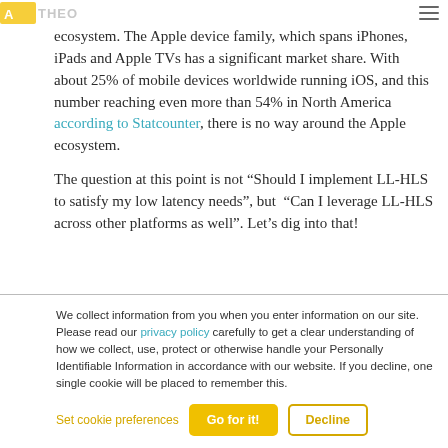THEO logo and hamburger menu
Apple has officially released LL-HLS support across its ecosystem. The Apple device family, which spans iPhones, iPads and Apple TVs has a significant market share. With about 25% of mobile devices worldwide running iOS, and this number reaching even more than 54% in North America according to Statcounter, there is no way around the Apple ecosystem.
The question at this point is not “Should I implement LL-HLS to satisfy my low latency needs”, but “Can I leverage LL-HLS across other platforms as well”. Let’s dig into that!
We collect information from you when you enter information on our site. Please read our privacy policy carefully to get a clear understanding of how we collect, use, protect or otherwise handle your Personally Identifiable Information in accordance with our website. If you decline, one single cookie will be placed to remember this.